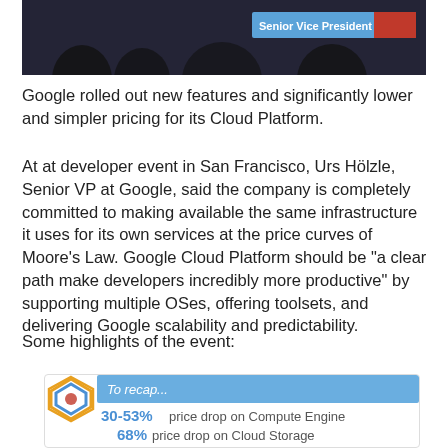[Figure (photo): Screenshot of a presentation with a 'Senior Vice President' label badge visible on a blue background, silhouetted audience.]
Google rolled out new features and significantly lower and simpler pricing for its Cloud Platform.
At at developer event in San Francisco, Urs Hölzle, Senior VP at Google, said the company is completely committed to making available the same infrastructure it uses for its own services at the price curves of Moore's Law. Google Cloud Platform should be "a clear path make developers incredibly more productive" by supporting multiple OSes, offering toolsets, and delivering Google scalability and predictability.
Some highlights of the event:
[Figure (infographic): Google Cloud Platform infographic box showing: To recap... 30-53% price drop on Compute Engine, 68% price drop on Cloud Storage]